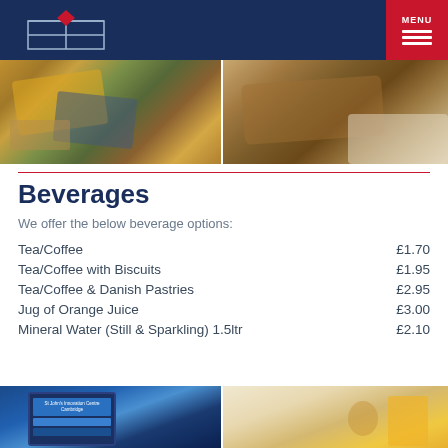[Figure (logo): St John's Innovation Centre logo with building outline and red diamond]
[Figure (photo): Food photo showing cheese board with crackers and blue cheese on left, wooden cutting board on right]
Beverages
We offer the below beverage options:
| Item | Price |
| --- | --- |
| Tea/Coffee | £1.70 |
| Tea/Coffee with Biscuits | £1.95 |
| Tea/Coffee & Danish Pastries | £2.95 |
| Jug of Orange Juice | £3.00 |
| Mineral Water (Still & Sparkling) 1.5ltr | £2.10 |
[Figure (photo): Bottom photo strip showing tablet with St John's Innovation Centre Cambridge website on left, food/drink on right]